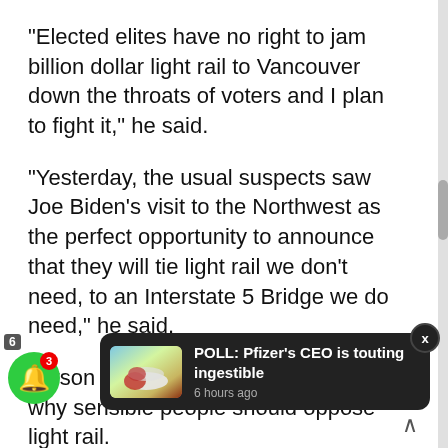“Elected elites have no right to jam billion dollar light rail to Vancouver down the throats of voters and I plan to fight it,” he said.
“Yesterday, the usual suspects saw Joe Biden’s visit to the Northwest as the perfect opportunity to announce that they will tie light rail we don’t need, to an Interstate 5 Bridge we do need,” he said.
Larson listed five major points on why sensible people should oppose light rail.
Light rail killed the last Columbia River I-5 bridge r… and $20… that only produced a pile of studies.
Vancouver voters said no to light rail the la…
[Figure (screenshot): Toast notification overlay reading 'POLL: Pfizer's CEO is touting ingestible' with timestamp '6 hours ago' and a thumbnail image of pills.]